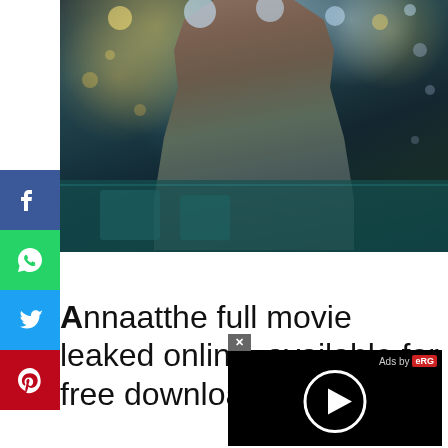[Figure (photo): Movie poster showing a man in a grey shirt against a dark teal/blue cinematic background with bokeh lights]
Annaatthe full movie leaked online, available for free download
[Figure (screenshot): Ad overlay with black background showing a play button circle, 'Ads by eRG' label, and an X close button]